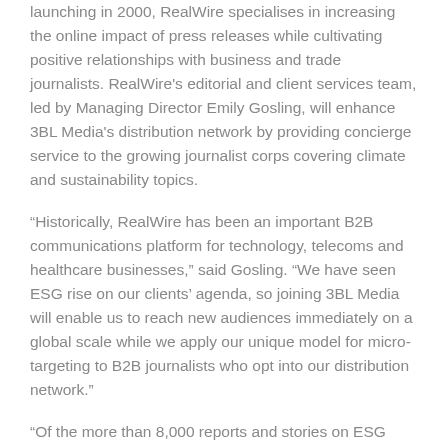launching in 2000, RealWire specialises in increasing the online impact of press releases while cultivating positive relationships with business and trade journalists. RealWire's editorial and client services team, led by Managing Director Emily Gosling, will enhance 3BL Media's distribution network by providing concierge service to the growing journalist corps covering climate and sustainability topics.
“Historically, RealWire has been an important B2B communications platform for technology, telecoms and healthcare businesses,” said Gosling. “We have seen ESG rise on our clients’ agenda, so joining 3BL Media will enable us to reach new audiences immediately on a global scale while we apply our unique model for micro-targeting to B2B journalists who opt into our distribution network.”
“Of the more than 8,000 reports and stories on ESG topics that 3BL Media distributed last year, environmental topics generated the most volume and audience interest”, said Armon. “Diversity, equity and inclusion was the top content category in the first quarter of 2022”.
Climate-related disclosure will be mandatory for publicly traded American companies under a proposal announced by the U.S.